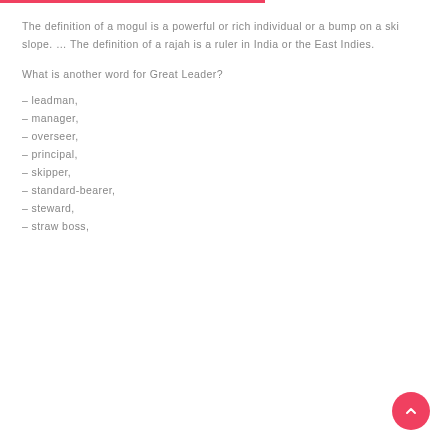The definition of a mogul is a powerful or rich individual or a bump on a ski slope. … The definition of a rajah is a ruler in India or the East Indies.
What is another word for Great Leader?
– leadman,
– manager,
– overseer,
– principal,
– skipper,
– standard-bearer,
– steward,
– straw boss,